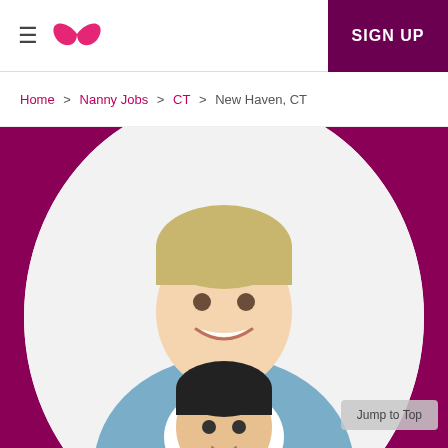≡  ∞∞  SIGN UP
Home > Nanny Jobs > CT > New Haven, CT
[Figure (photo): A smiling woman in a blue denim shirt holding a young child in a yellow outfit, displayed in a circular frame on a dark magenta/purple background. This is a promotional image for a nanny job listing site.]
Jump to Top